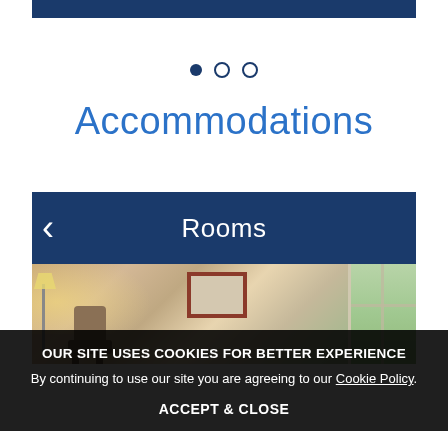[Figure (screenshot): Top blue decorative bar of a hotel website]
[Figure (infographic): Carousel dot indicators: one filled circle and two empty circles]
Accommodations
Rooms
[Figure (photo): Hotel room interior showing an armchair, lamp, framed wall art, and window with greenery outside]
OUR SITE USES COOKIES FOR BETTER EXPERIENCE
By continuing to use our site you are agreeing to our Cookie Policy.
ACCEPT & CLOSE